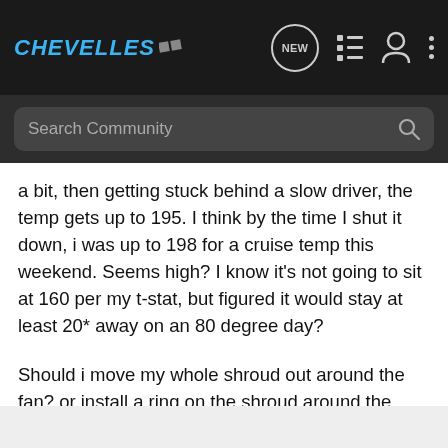CHEVELLES
a bit, then getting stuck behind a slow driver, the temp gets up to 195. I think by the time I shut it down, i was up to 198 for a cruise temp this weekend. Seems high? I know it's not going to sit at 160 per my t-stat, but figured it would stay at least 20* away on an 80 degree day?
Should i move my whole shroud out around the fan? or install a ring on the shroud around the fan? I don't know which would be better. right now, the fan sits just flush with the shroud. Any other ideas welcome.
sorry, it's a driver, she's dirty...